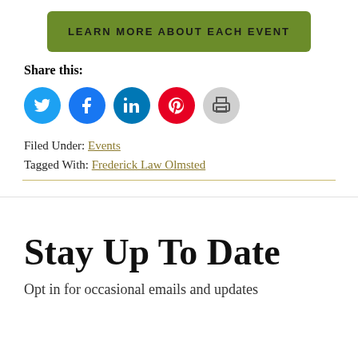[Figure (other): Green button with text LEARN MORE ABOUT EACH EVENT]
Share this:
[Figure (other): Social sharing icons: Twitter (blue), Facebook (blue), LinkedIn (dark blue), Pinterest (red), Print (gray)]
Filed Under: Events
Tagged With: Frederick Law Olmsted
Stay Up To Date
Opt in for occasional emails and updates